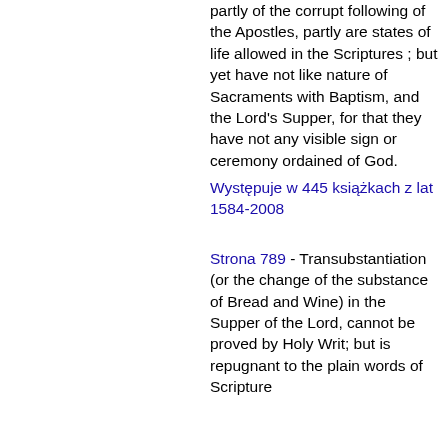partly of the corrupt following of the Apostles, partly are states of life allowed in the Scriptures ; but yet have not like nature of Sacraments with Baptism, and the Lord's Supper, for that they have not any visible sign or ceremony ordained of God.
Występuje w 445 książkach z lat 1584-2008
Strona 789 - Transubstantiation (or the change of the substance of Bread and Wine) in the Supper of the Lord, cannot be proved by Holy Writ; but is repugnant to the plain words of Scripture